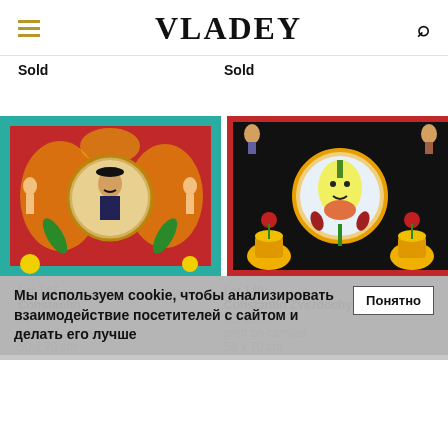VLADEY
Sold
Sold
[Figure (illustration): Colorful folk art painting on red background with gold floral patterns, circular medallion with a mustachioed man in a black hat, flanked by two nude figures, teal Greek key border]
[Figure (illustration): Folk art painting on black background with colorful floral motifs, central circular medallion showing an onion/bulb face, yellow vases with flowers, small figures in corners]
Lot 147
Lot 148
Constantin Zvezdochyotov
Constantin Zvezdochyotov
no, 2000
print on canvas
print on canvas
50 x 70 cm
50 x 70 cm
Мы используем cookie, чтобы анализировать взаимодействие посетителей с сайтом и делать его лучше
Понятно